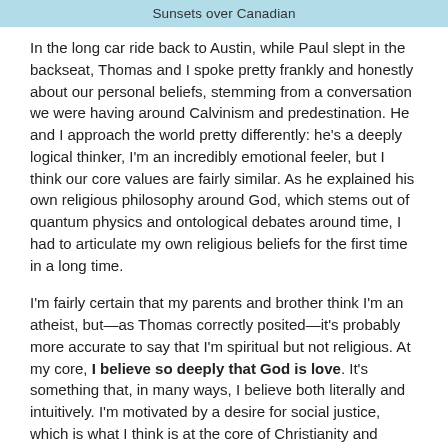Sunsets over Canadian
In the long car ride back to Austin, while Paul slept in the backseat, Thomas and I spoke pretty frankly and honestly about our personal beliefs, stemming from a conversation we were having around Calvinism and predestination. He and I approach the world pretty differently: he's a deeply logical thinker, I'm an incredibly emotional feeler, but I think our core values are fairly similar. As he explained his own religious philosophy around God, which stems out of quantum physics and ontological debates around time, I had to articulate my own religious beliefs for the first time in a long time.
I'm fairly certain that my parents and brother think I'm an atheist, but—as Thomas correctly posited—it's probably more accurate to say that I'm spiritual but not religious. At my core, I believe so deeply that God is love. It's something that, in many ways, I believe both literally and intuitively. I'm motivated by a desire for social justice, which is what I think is at the core of Christianity and many other religions. I don't have any proof or evidence for this belief